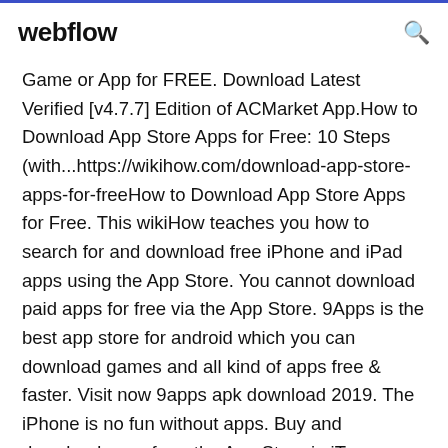webflow
Game or App for FREE. Download Latest Verified [v4.7.7] Edition of ACMarket App.How to Download App Store Apps for Free: 10 Steps (with...https://wikihow.com/download-app-store-apps-for-freeHow to Download App Store Apps for Free. This wikiHow teaches you how to search for and download free iPhone and iPad apps using the App Store. You cannot download paid apps for free via the App Store. 9Apps is the best app store for android which you can download games and all kind of apps free & faster. Visit now 9apps apk download 2019. The iPhone is no fun without apps. Buy and download apps from the App Store in iTunes version 12.6 and earlier and sync them to